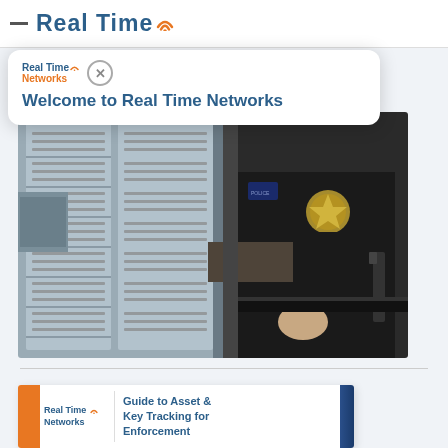[Figure (screenshot): Real Time Networks website screenshot showing navigation bar with logo, a tooltip popup saying 'Welcome to Real Time Networks', a photo of a police officer accessing a weapon storage locker, and a partial view of a brochure titled 'Guide to Asset & Key Tracking for Law Enforcement']
Welcome to Real Time Networks
Guide to Asset & Key Tracking for Law Enforcement